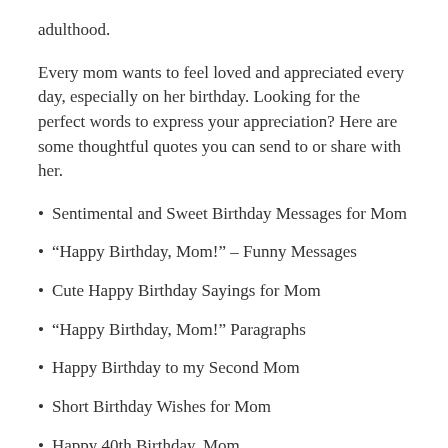adulthood.
Every mom wants to feel loved and appreciated every day, especially on her birthday. Looking for the perfect words to express your appreciation? Here are some thoughtful quotes you can send to or share with her.
Sentimental and Sweet Birthday Messages for Mom
“Happy Birthday, Mom!” – Funny Messages
Cute Happy Birthday Sayings for Mom
“Happy Birthday, Mom!” Paragraphs
Happy Birthday to my Second Mom
Short Birthday Wishes for Mom
Happy 40th Birthday, Mom